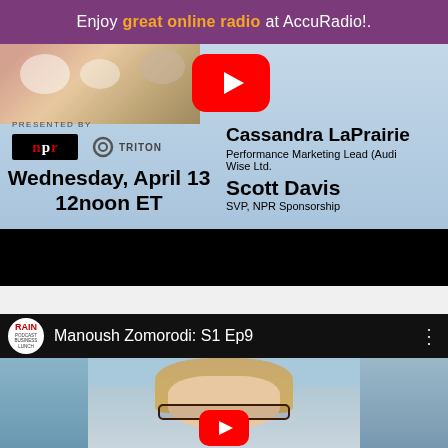Enjoy great online radio at AccuRadio!.
[Figure (screenshot): YouTube video thumbnail showing a webinar: Cassandra LaPrairie, Performance Marketing Lead (AudioWise Ltd.), and Scott Davis, SVP NPR Sponsorship. Presented by NPR and Triton. Wednesday, April 13 12noon ET. Red YouTube play button visible. Black bar at bottom.]
[Figure (screenshot): YouTube video thumbnail from RAIN Podcast Business Lunch channel showing episode 'Manoush Zomorodi: S1 Ep9'. A woman with glasses and long hair is visible. Red YouTube play button at bottom center.]